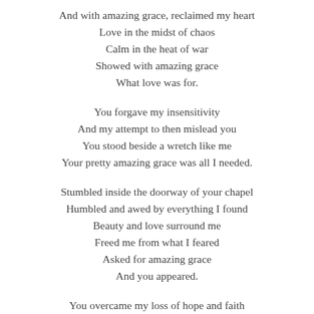And with amazing grace, reclaimed my heart
Love in the midst of chaos
Calm in the heat of war
Showed with amazing grace
What love was for.
You forgave my insensitivity
And my attempt to then mislead you
You stood beside a wretch like me
Your pretty amazing grace was all I needed.
Stumbled inside the doorway of your chapel
Humbled and awed by everything I found
Beauty and love surround me
Freed me from what I feared
Asked for amazing grace
And you appeared.
You overcame my loss of hope and faith
Gave me a truth I could believe in
You led me to a higher place